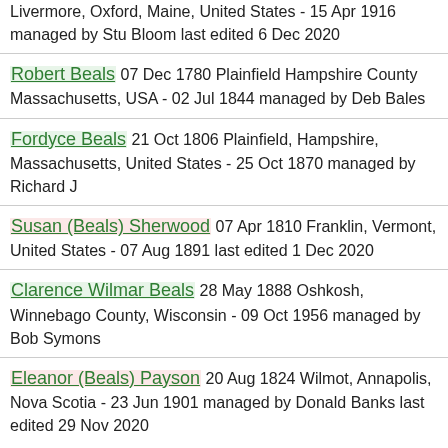Livermore, Oxford, Maine, United States - 15 Apr 1916 managed by Stu Bloom last edited 6 Dec 2020
Robert Beals 07 Dec 1780 Plainfield Hampshire County Massachusetts, USA - 02 Jul 1844 managed by Deb Bales
Fordyce Beals 21 Oct 1806 Plainfield, Hampshire, Massachusetts, United States - 25 Oct 1870 managed by Richard J
Susan (Beals) Sherwood 07 Apr 1810 Franklin, Vermont, United States - 07 Aug 1891 last edited 1 Dec 2020
Clarence Wilmar Beals 28 May 1888 Oshkosh, Winnebago County, Wisconsin - 09 Oct 1956 managed by Bob Symons
Eleanor (Beals) Payson 20 Aug 1824 Wilmot, Annapolis, Nova Scotia - 23 Jun 1901 managed by Donald Banks last edited 29 Nov 2020